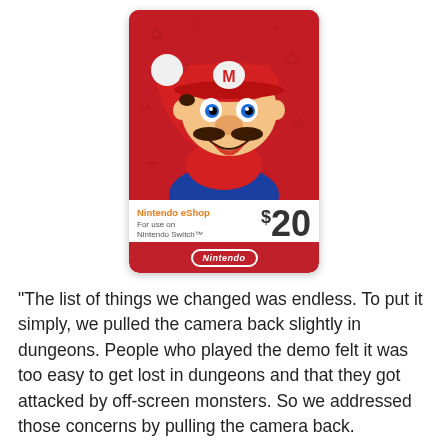[Figure (illustration): Nintendo eShop $20 gift card for use on Nintendo Switch, featuring Super Mario on a red background]
“The list of things we changed was endless. To put it simply, we pulled the camera back slightly in dungeons. People who played the demo felt it was too easy to get lost in dungeons and that they got attacked by off-screen monsters. So we addressed those concerns by pulling the camera back.